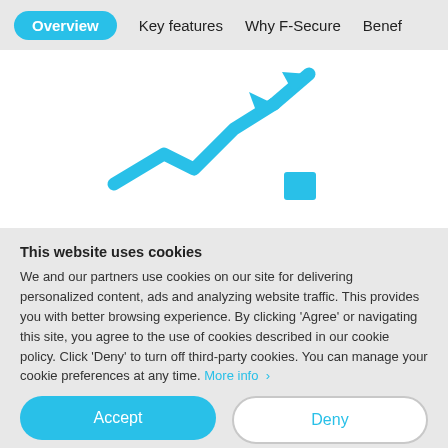Overview | Key features | Why F-Secure | Benef
[Figure (illustration): Blue rising arrow/trend icon with a small blue rectangle at the bottom right, on a white background]
This website uses cookies
We and our partners use cookies on our site for delivering personalized content, ads and analyzing website traffic. This provides you with better browsing experience. By clicking 'Agree' or navigating this site, you agree to the use of cookies described in our cookie policy. Click 'Deny' to turn off third-party cookies. You can manage your cookie preferences at any time. More info >
Accept
Deny